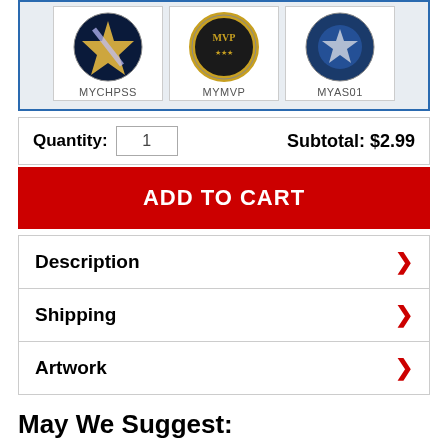[Figure (photo): Three product thumbnail images: MYCHPSS (circular badge with lightning bolt and star), MYMVP (circular military badge with gold laurel wreath), MYAS01 (circular badge with silver star on blue background)]
Quantity: 1   Subtotal: $2.99
ADD TO CART
Description
Shipping
Artwork
May We Suggest:
See More Wheelchair Ribbons